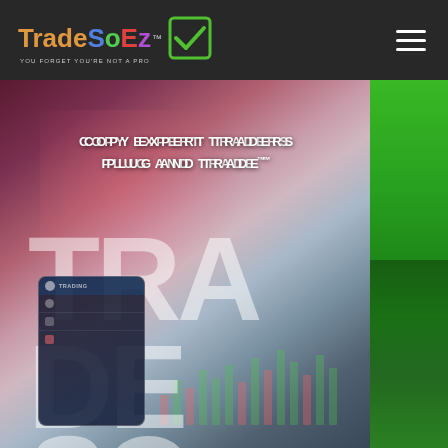[Figure (screenshot): TradeSoEz website header/hero section. Dark navigation bar at top with colorful TradeSoEz logo (Trade in orange, S in blue, o in green, E in red, z in purple) and checkmark icon, hamburger menu on right. Hero section shows blurred trading/financial background imagery with text 'COPY EXPERT TRADERS PLUG AND TRADE™' in white bold letters. Large semi-transparent letters spelling 'TRADESOE' fill the lower portion. Right side has a green panel. A trading app phone mockup visible in lower left.]